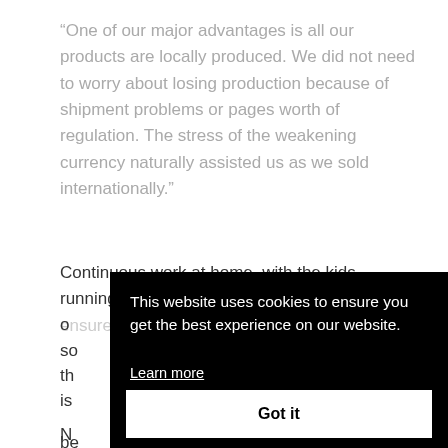“One of our major advantages is all our products are locally produced. We did not need to worry about losing production because of shipment problems or pages worth of regulation. The stress of the weakening currency naturally assisted us as we sold internationally.”
Continuous work at home, with the kids running around in the background, was vital to ensure as the world o... so... th... is...
N... be...
[Figure (screenshot): Cookie consent overlay banner with black background showing: 'This website uses cookies to ensure you get the best experience on our website.' with a 'Learn more' link and a white 'Got it' button.]